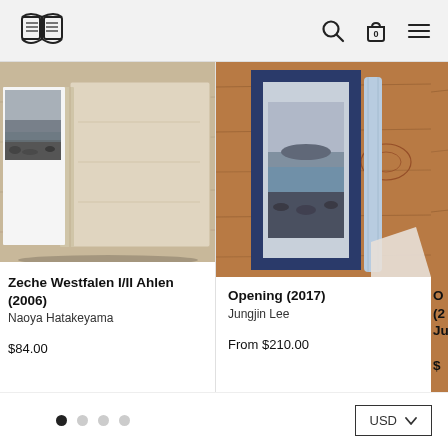Book store navigation header with logo, search, cart (0), and menu icons
[Figure (photo): Photography book with a coastal black-and-white scene visible on the left page, tan/beige cover on the right, sitting on a wooden surface]
Zeche Westfalen I/II Ahlen (2006)
Naoya Hatakeyama

$84.00
[Figure (photo): Art book or print showing a dark blue framed landscape photograph with rocky shoreline and misty water, placed on a wooden surface with a light blue roll beside it]
Opening (2017)
Jungjin Lee

From $210.00
[Figure (photo): Partially visible third product on the right edge of the page]
O
(2
Ju

$
Pagination dots (1 active, 3 inactive) and USD currency selector